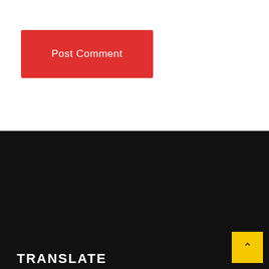Post Comment
[Figure (infographic): Visitors widget showing flag counter statistics: NG 43.80%, US 16.23%, PH 7.18%, TZ 4.82%, ZA 3.51%, IN 3.29%, GH 2.69%, DE 1.75%, GB 1.26%, MX 1.15%. Pageviews: 3,550. FLAG counter logo at bottom.]
TRANSLATE